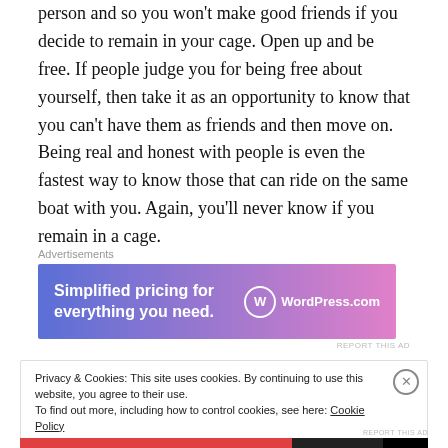person and so you won't make good friends if you decide to remain in your cage. Open up and be free. If people judge you for being free about yourself, then take it as an opportunity to know that you can't have them as friends and then move on. Being real and honest with people is even the fastest way to know those that can ride on the same boat with you. Again, you'll never know if you remain in a cage.
[Figure (other): WordPress.com advertisement banner: 'Simplified pricing for everything you need.' with WordPress.com logo on gradient purple-pink background]
Privacy & Cookies: This site uses cookies. By continuing to use this website, you agree to their use. To find out more, including how to control cookies, see here: Cookie Policy
Close and accept